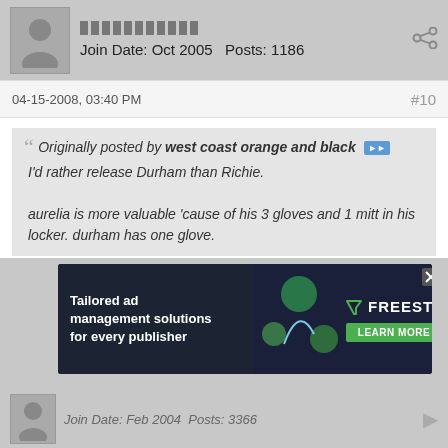Join Date: Oct 2005   Posts: 1186
04-15-2008, 03:40 PM   #10
Originally posted by west coast orange and black
I'd rather release Durham than Richie.

aurelia is more valuable 'cause of his 3 gloves and 1 mitt in his locker. durham has one glove.
Maybe Durham should get another glove - that one he has doesn't seem to work too good...
But the young rotation and players like Velez and Babe Bowker do give a glimmer of hope for the future.
[Figure (screenshot): Advertisement banner: Tailored ad management solutions for every publisher - FREESTA with LEARN MORE button]
Join Date: Feb 2004   Posts: 3366